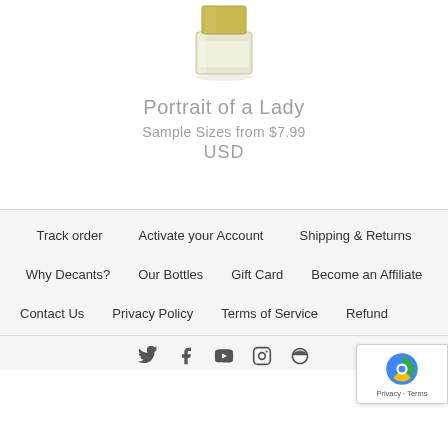[Figure (photo): Perfume bottle - Portrait of a Lady fragrance, cylindrical with gold cap and clear glass body]
Portrait of a Lady
Sample Sizes from $7.99
USD
Track order
Activate your Account
Shipping & Returns
Why Decants?
Our Bottles
Gift Card
Become an Affiliate
Contact Us
Privacy Policy
Terms of Service
Refund...
[Figure (illustration): Social media icons row: Twitter, Facebook, YouTube, Instagram, Pinterest]